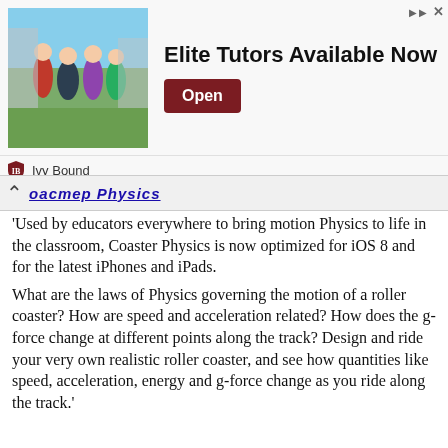[Figure (photo): Advertisement banner for Ivy Bound Elite Tutors with photo of students and Open button]
Coaster Physics (partially visible, scrolled link)
'Used by educators everywhere to bring motion Physics to life in the classroom, Coaster Physics is now optimized for iOS 8 and for the latest iPhones and iPads. What are the laws of Physics governing the motion of a roller coaster? How are speed and acceleration related? How does the g-force change at different points along the track? Design and ride your very own realistic roller coaster, and see how quantities like speed, acceleration, energy and g-force change as you ride along the track.'